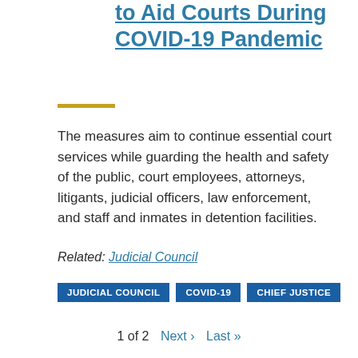to Aid Courts During COVID-19 Pandemic
The measures aim to continue essential court services while guarding the health and safety of the public, court employees, attorneys, litigants, judicial officers, law enforcement, and staff and inmates in detention facilities.
Related: Judicial Council
JUDICIAL COUNCIL
COVID-19
CHIEF JUSTICE
1 of 2  Next ›  Last »